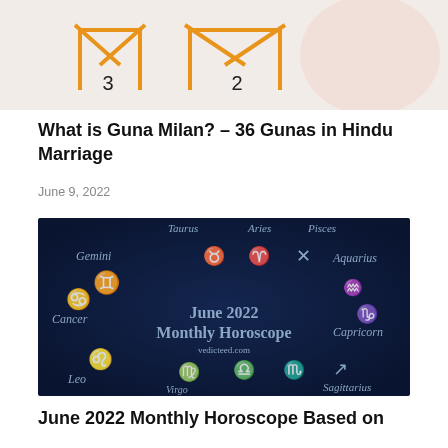[Figure (illustration): Partial top image showing orange/gold geometric house-like shapes with numbers 3 and 2, on a light pinkish-beige background, partially cropped at top]
What is Guna Milan? – 36 Gunas in Hindu Marriage
June 9, 2022
[Figure (photo): Dark blue/navy background with zodiac signs and symbols arranged around center text reading 'June 2022 Monthly Horoscope' with vedicteed.com watermark. Signs visible: Taurus, Aries, Pisces, Gemini, Aquarius, Cancer, Capricorn, Leo, Virgo, Libra, Scorpio, Sagittarius]
June 2022 Monthly Horoscope Based on